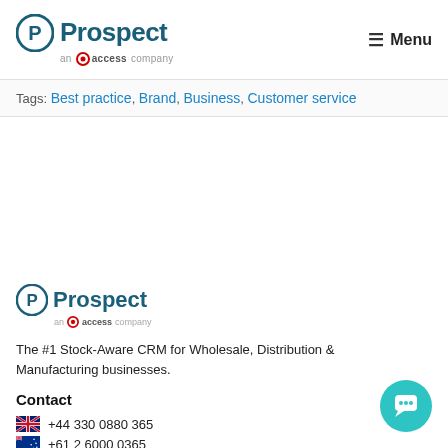Prospect — an access company | Menu
Tags: Best practice, Brand, Business, Customer service
[Figure (logo): Prospect logo — an access company, footer version]
The #1 Stock-Aware CRM for Wholesale, Distribution & Manufacturing businesses.
Contact
+44 330 0880 365
+61 2 6000 0365 (partial)